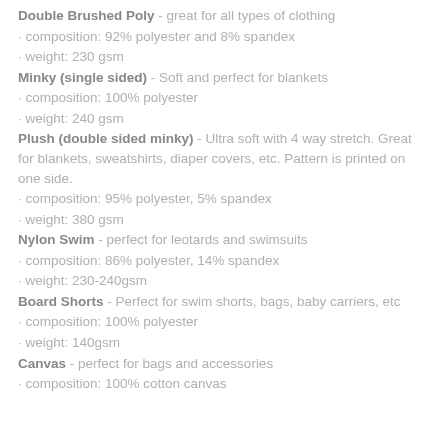Double Brushed Poly - great for all types of clothing
· composition: 92% polyester and 8% spandex
· weight: 230 gsm
Minky (single sided) - Soft and perfect for blankets
· composition: 100% polyester
· weight: 240 gsm
Plush (double sided minky) - Ultra soft with 4 way stretch. Great for blankets, sweatshirts, diaper covers, etc. Pattern is printed on one side.
· composition: 95% polyester, 5% spandex
· weight: 380 gsm
Nylon Swim - perfect for leotards and swimsuits
· composition: 86% polyester, 14% spandex
· weight: 230-240gsm
Board Shorts - Perfect for swim shorts, bags, baby carriers, etc
· composition: 100% polyester
· weight: 140gsm
Canvas - perfect for bags and accessories
· composition: 100% cotton canvas